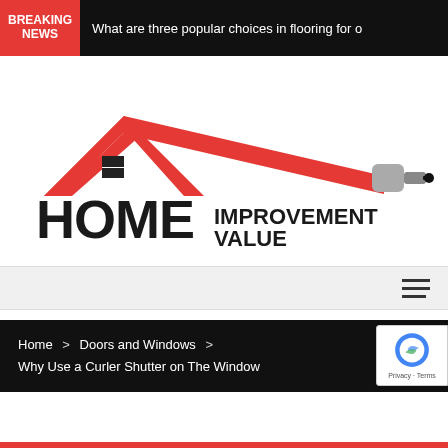BREAKING NEWS — What are three popular choices in flooring for o
[Figure (logo): Home Improvement Value logo: red house roof/gable with a paint roller extending to the right, and bold text 'HOME IMPROVEMENT VALUE' below]
Home > Doors and Windows > Why Use a Curler Shutter on The Window